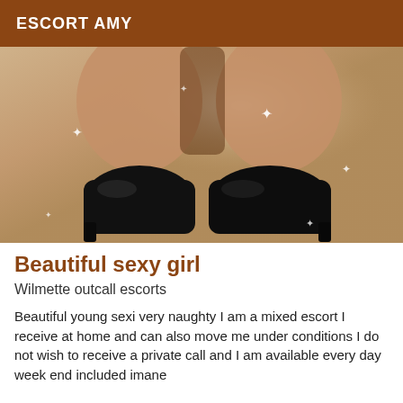ESCORT AMY
[Figure (photo): Close-up photo of legs wearing black high-heel shoes on a white surface, with sparkle effects overlaid.]
Beautiful sexy girl
Wilmette outcall escorts
Beautiful young sexi very naughty I am a mixed escort I receive at home and can also move me under conditions I do not wish to receive a private call and I am available every day week end included imane